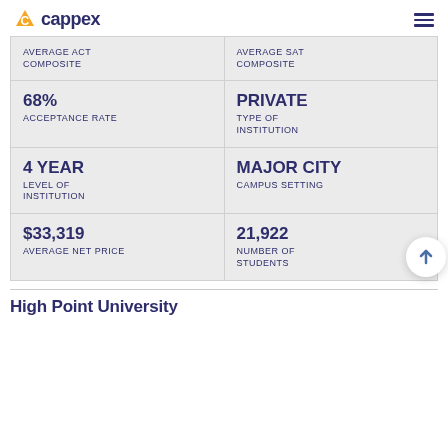cappex
| Metric | Value |
| --- | --- |
| AVERAGE ACT COMPOSITE |  |
| AVERAGE SAT COMPOSITE |  |
| 68% | ACCEPTANCE RATE |
| PRIVATE | TYPE OF INSTITUTION |
| 4 YEAR | LEVEL OF INSTITUTION |
| MAJOR CITY | CAMPUS SETTING |
| $33,319 | AVERAGE NET PRICE |
| 21,922 | NUMBER OF STUDENTS |
High Point University